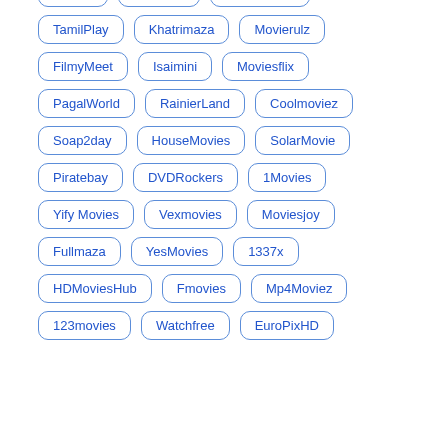Hubflix
DVDVilla
Vegamovies
TamilPlay
Khatrimaza
Movierulz
FilmyMeet
Isaimini
Moviesflix
PagalWorld
RainierLand
Coolmoviez
Soap2day
HouseMovies
SolarMovie
Piratebay
DVDRockers
1Movies
Yify Movies
Vexmovies
Moviesjoy
Fullmaza
YesMovies
1337x
HDMoviesHub
Fmovies
Mp4Moviez
123movies
Watchfree
EuroPixHD